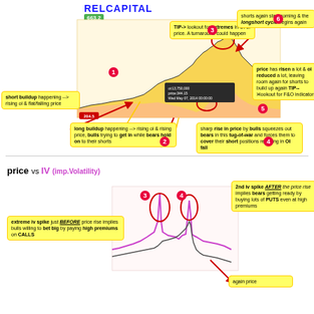RELCAPITAL
[Figure (infographic): RELCAPITAL stock chart annotated with numbered callouts (1-6) explaining short buildup, long buildup, OI extremes, price rise squeezing bears, OI fall, and longshort cycle. Yellow callout boxes with red arrows indicate key chart events.]
[Figure (infographic): price vs IV (imp.Volatility) chart annotated with numbered callouts (3-4) explaining extreme iv spike before price rise (bulls betting big on CALLS with high premiums) and 2nd iv spike after price rise (bears buying PUTS). Bottom shows 'again price' note.]